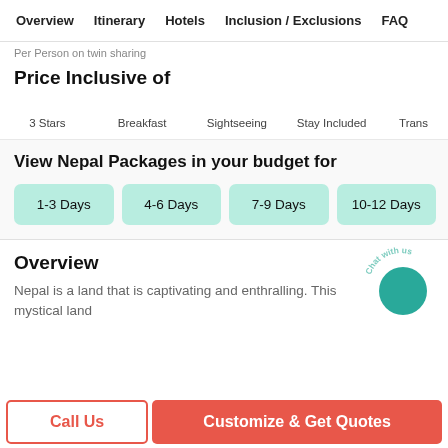Overview   Itinerary   Hotels   Inclusion / Exclusions   FAQ
Per Person on twin sharing
Price Inclusive of
3 Stars   Breakfast   Sightseeing   Stay Included   Trans...
View Nepal Packages in your budget for
1-3 Days
4-6 Days
7-9 Days
10-12 Days
Overview
Nepal is a land that is captivating and enthralling. This mystical land